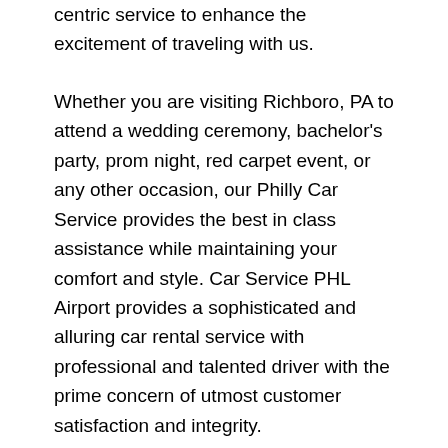centric service to enhance the excitement of traveling with us.
Whether you are visiting Richboro, PA to attend a wedding ceremony, bachelor's party, prom night, red carpet event, or any other occasion, our Philly Car Service provides the best in class assistance while maintaining your comfort and style. Car Service PHL Airport provides a sophisticated and alluring car rental service with professional and talented driver with the prime concern of utmost customer satisfaction and integrity.
If you have plans to visit Richboro, PA, we at Philadelphia Limo suggest that you must have a pre planned car booking done to save yourself from the